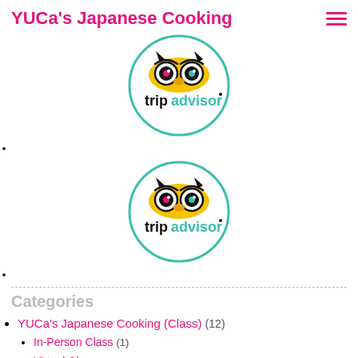YUCa's Japanese Cooking
[Figure (logo): TripAdvisor owl logo in a teal circle with text 'tripadvisor']
[Figure (logo): TripAdvisor owl logo in a teal circle with text 'tripadvisor']
Categories
YUCa's Japanese Cooking (Class) (12)
In-Person Class (1)
Virtual Class (1)